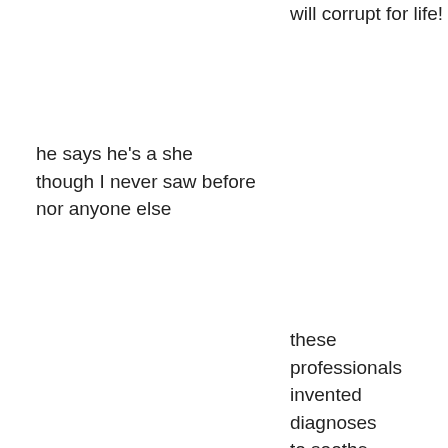will corrupt for life!
he says he's a she
though I never saw before
nor anyone else
these professionals invented diagnoses to soothe parents' guilt the signs that were hid too well they say never